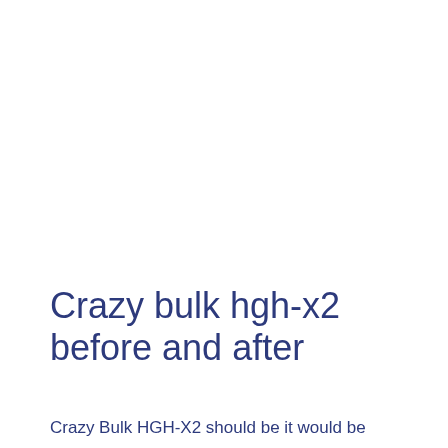Crazy bulk hgh-x2 before and after
Crazy Bulk HGH-X2 should be it would be...